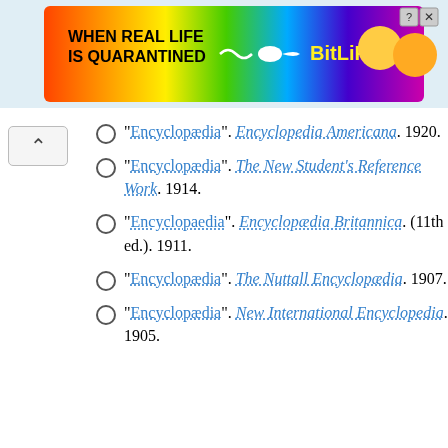[Figure (illustration): Advertisement banner for BitLife app with rainbow background and text 'When real life is quarantined' with BitLife logo]
"Encyclopædia". Encyclopedia Americana. 1920.
"Encyclopædia". The New Student's Reference Work. 1914.
"Encyclopaedia". Encyclopædia Britannica (11th ed.). 1911.
"Encyclopædia". The Nuttall Encyclopædia. 1907.
"Encyclopædia". New International Encyclopedia. 1905.